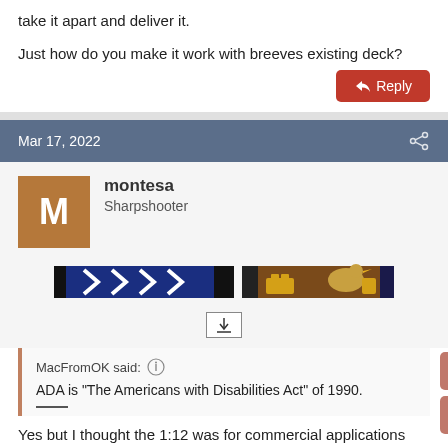take it apart and deliver it.
Just how do you make it work with breeves existing deck?
Reply
Mar 17, 2022
montesa
Sharpshooter
[Figure (illustration): Forum signature banner showing a blue strip with white chevrons and a brown strip with yellow blocks and a chicken/bird figure]
MacFromOK said:
ADA is "The Americans with Disabilities Act" of 1990.
Yes but I thought the 1:12 was for commercial applications